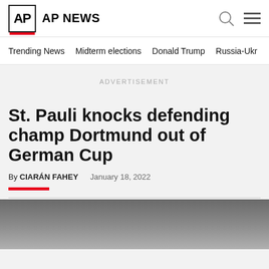AP NEWS
Trending News   Midterm elections   Donald Trump   Russia-Ukr
ADVERTISEMENT
St. Pauli knocks defending champ Dortmund out of German Cup
By CIARÁN FAHEY   January 18, 2022
[Figure (photo): Partial photo of a person, appears to be at a sports venue]